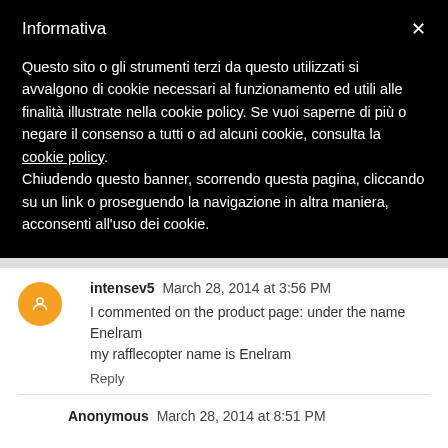Informativa
Questo sito o gli strumenti terzi da questo utilizzati si avvalgono di cookie necessari al funzionamento ed utili alle finalità illustrate nella cookie policy. Se vuoi saperne di più o negare il consenso a tutti o ad alcuni cookie, consulta la cookie policy.
Chiudendo questo banner, scorrendo questa pagina, cliccando su un link o proseguendo la navigazione in altra maniera, acconsenti all'uso dei cookie.
intensev5  March 28, 2014 at 3:56 PM
I commented on the product page: under the name Enelram my rafflecopter name is Enelram
Reply
Anonymous  March 28, 2014 at 8:51 PM